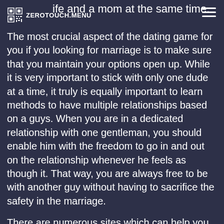ZEROTOUCH.MENU
ife and a mom at the same time.
The most crucial aspect of the dating game for you if you looking for marriage is to make sure that you maintain your options open up. While it is very important to stick with only one dude at a time, it truly is equally important to learn methods to have multiple relationships based on a guys. When you are in a dedicated relationship with one gentleman, you should enable him with the freedom to go in and out on the relationship whenever he feels as though it. That way, you are always free to be with another guy without having to sacrifice the safety in the marriage.
There are numerous sites which can help you learn methods to balance the needs of the career and family. These sites can give you vital information that may help you create a harmony between like